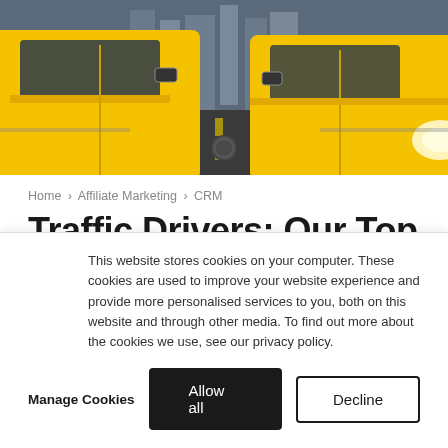[Figure (photo): Street-level photo of yellow New York City taxis in traffic, viewed from between two closely packed cabs with buildings visible in the background.]
Home › Affiliate Marketing › CRM
Traffic Drivers: Our Top Five from This Week (July 27)
This website stores cookies on your computer. These cookies are used to improve your website experience and provide more personalised services to you, both on this website and through other media. To find out more about the cookies we use, see our privacy policy.
Manage Cookies   Allow all   Decline